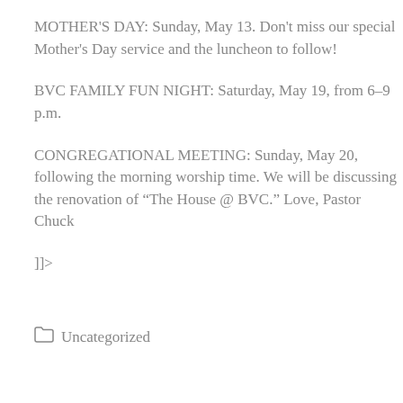MOTHER'S DAY: Sunday, May 13. Don't miss our special Mother's Day service and the luncheon to follow!
BVC FAMILY FUN NIGHT: Saturday, May 19, from 6–9 p.m.
CONGREGATIONAL MEETING: Sunday, May 20, following the morning worship time. We will be discussing the renovation of “The House @ BVC.” Love, Pastor Chuck
]]>
Uncategorized